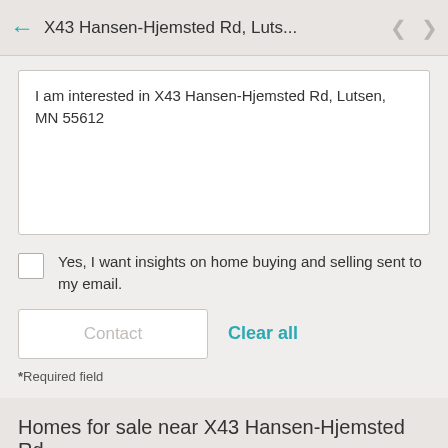X43 Hansen-Hjemsted Rd, Luts...
I am interested in X43 Hansen-Hjemsted Rd, Lutsen, MN 55612
Yes, I want insights on home buying and selling sent to my email.
Contact
Clear all
*Required field
Homes for sale near X43 Hansen-Hjemsted Rd
[Figure (photo): Green outdoor/nature photo strip at bottom of page]